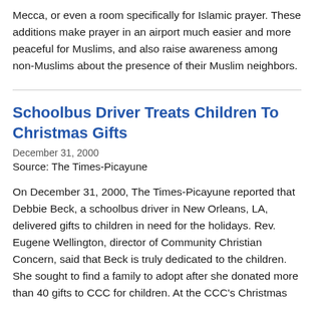Mecca, or even a room specifically for Islamic prayer. These additions make prayer in an airport much easier and more peaceful for Muslims, and also raise awareness among non-Muslims about the presence of their Muslim neighbors.
Schoolbus Driver Treats Children To Christmas Gifts
December 31, 2000
Source: The Times-Picayune
On December 31, 2000, The Times-Picayune reported that Debbie Beck, a schoolbus driver in New Orleans, LA, delivered gifts to children in need for the holidays. Rev. Eugene Wellington, director of Community Christian Concern, said that Beck is truly dedicated to the children. She sought to find a family to adopt after she donated more than 40 gifts to CCC for children. At the CCC's Christmas